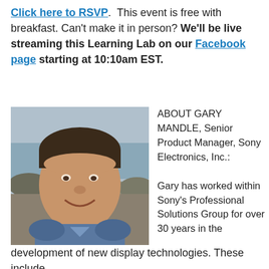Click here to RSVP. This event is free with breakfast. Can't make it in person? We'll be live streaming this Learning Lab on our Facebook page starting at 10:10am EST.
[Figure (photo): Headshot photo of Gary Mandle, a middle-aged man with dark hair, smiling, wearing a blue shirt, with a rocky beach and ocean in the background.]
ABOUT GARY MANDLE, Senior Product Manager, Sony Electronics, Inc.: Gary has worked within Sony's Professional Solutions Group for over 30 years in the development of new display technologies. These include